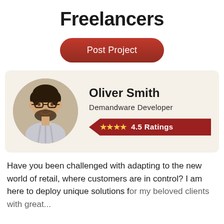Freelancers
Post Project
[Figure (photo): Profile photo of Oliver Smith, a man with glasses and dark beard, smiling, wearing a striped shirt, shown in a circular frame.]
Oliver Smith
Demandware Developer
★★★★ 4.5 Ratings
Have you been challenged with adapting to the new world of retail, where customers are in control? I am here to deploy unique solutions for my beloved clients with great...